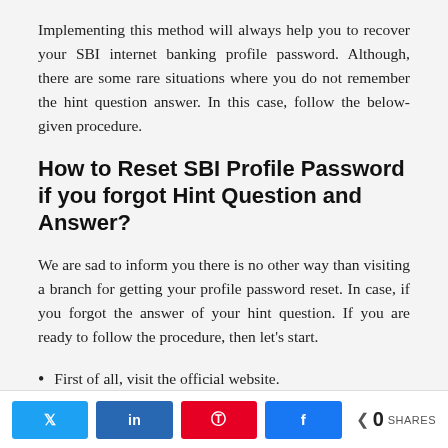Implementing this method will always help you to recover your SBI internet banking profile password. Although, there are some rare situations where you do not remember the hint question answer. In this case, follow the below-given procedure.
How to Reset SBI Profile Password if you forgot Hint Question and Answer?
We are sad to inform you there is no other way than visiting a branch for getting your profile password reset. In case, if you forgot the answer of your hint question. If you are ready to follow the procedure, then let’s start.
First of all, visit the official website.